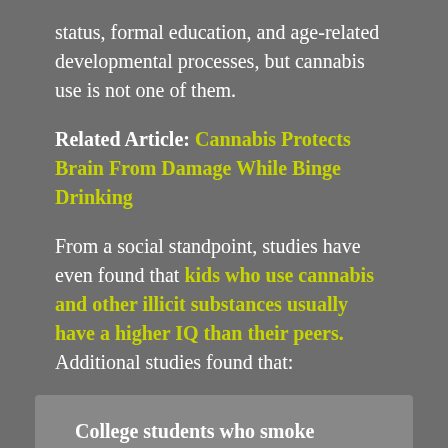status, formal education, and age-related developmental processes, but cannabis use is not one of them.
Related Article: Cannabis Protects Brain From Damage While Binge Drinking
From a social standpoint, studies have even found that kids who use cannabis and other illicit substances usually have a higher IQ than their peers. Additional studies found that:
College students who smoke cannabis demonstrate comparable or even higher grades than their cannabis abstinent classmates, and are more likely to